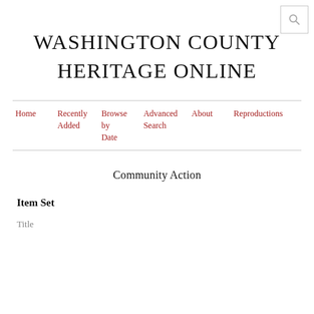WASHINGTON COUNTY HERITAGE ONLINE
Home | Recently Added | Browse by Date | Advanced Search | About | Reproductions
Community Action
Item Set
Title